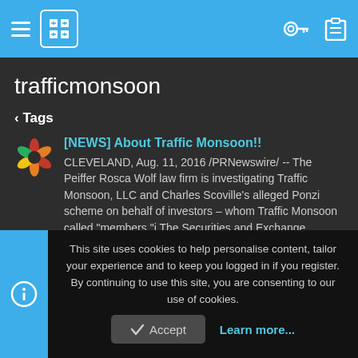trafficmonsoon — navigation header with hamburger menu and logo
trafficmonsoon
< Tags
[NEWS] About Traffic Monsoon!!
CLEVELAND, Aug. 11, 2016 /PRNewswire/ -- The Peiffer Rosca Wolf law firm is investigating Traffic Monsoon, LLC and Charles Scoville's alleged Ponzi scheme on behalf of investors – whom Traffic Monsoon called "members."i The Securities and Exchange Commission ("SEC") alleges that Traffic...
Mmo01 · Thread · Aug 12, 2016 · news · ponzi
This site uses cookies to help personalise content, tailor your experience and to keep you logged in if you register.
By continuing to use this site, you are consenting to our use of cookies.